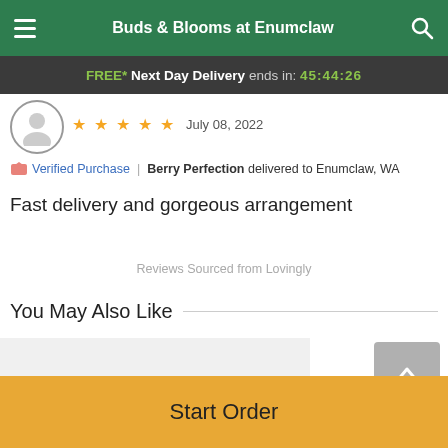Buds & Blooms at Enumclaw
FREE* Next Day Delivery ends in: 45:44:26
★★★★★  July 08, 2022
Verified Purchase | Berry Perfection delivered to Enumclaw, WA
Fast delivery and gorgeous arrangement
Reviews Sourced from Lovingly
You May Also Like
[Figure (photo): Floral arrangement with purple and white flowers]
Start Order